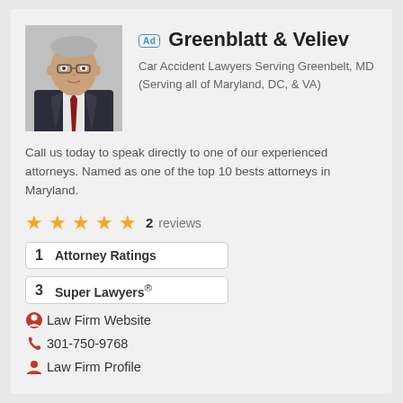[Figure (photo): Headshot of a middle-aged male lawyer in a dark suit with a red tie, gray hair]
Greenblatt & Veliev
Car Accident Lawyers Serving Greenbelt, MD (Serving all of Maryland, DC, & VA)
Call us today to speak directly to one of our experienced attorneys. Named as one of the top 10 bests attorneys in Maryland.
★★★★★  2  reviews
1  Attorney Ratings
3  Super Lawyers®
Law Firm Website
301-750-9768
Law Firm Profile